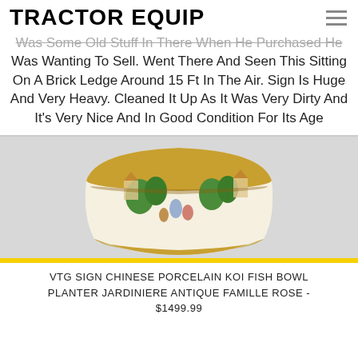TRACTOR EQUIP
Was Some Old Stuff In There When He Purchased He Was Wanting To Sell. Went There And Seen This Sitting On A Brick Ledge Around 15 Ft In The Air. Sign Is Huge And Very Heavy. Cleaned It Up As It Was Very Dirty And It's Very Nice And In Good Condition For Its Age
[Figure (photo): A decorative Chinese porcelain bowl/planter with famille rose design featuring figures in a garden scene, with gold trim along the rim and base]
VTG SIGN CHINESE PORCELAIN KOI FISH BOWL PLANTER JARDINIERE ANTIQUE FAMILLE ROSE - $1499.99